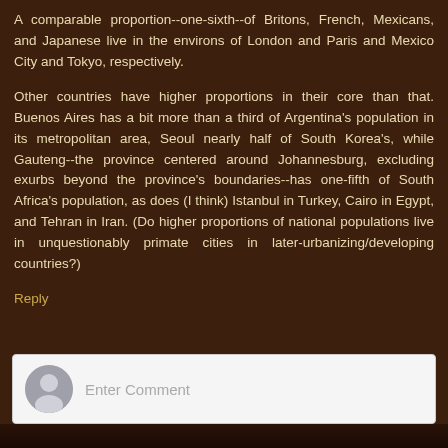A comparable proportion--one-sixth--of Britons, French, Mexicans, and Japanese live in the environs of London and Paris and Mexico City and Tokyo, respectively.
Other countries have higher proportions in their core than that. Buenos Aires has a bit more than a third of Argentina's population in its metropolitan area, Seoul nearly half of South Korea's, while Gauteng--the province centered around Johannesburg, excluding exurbs beyond the province's boundaries--has one-fifth of South Africa's population, as does (I think) Istanbul in Turkey, Cairo in Egypt, and Tehran in Iran. (Do higher proportions of national populations live in unquestionably primate cities in later-urbanizing/developing countries?)
Reply
[Figure (other): Comment input box with a generic grey avatar icon on the left and placeholder text 'Enter Comment' on the right]